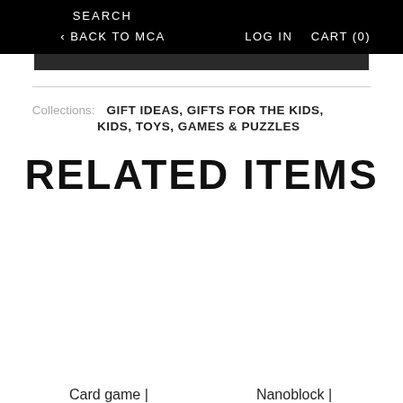SEARCH
< BACK TO MCA   LOG IN   CART (0)
Collections: GIFT IDEAS, GIFTS FOR THE KIDS, KIDS, TOYS, GAMES & PUZZLES
RELATED ITEMS
Card game |
Nanoblock |